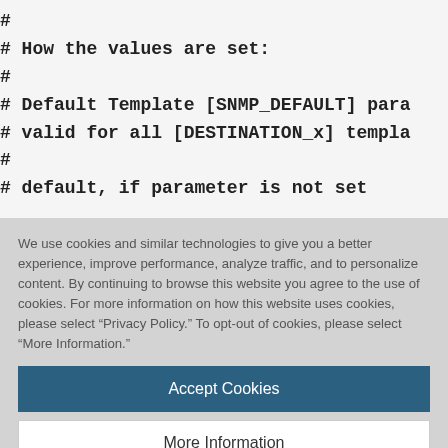#
# How the values are set:
#
# Default Template [SNMP_DEFAULT] para
# valid for all [DESTINATION_x] templa
#
# default, if parameter is not set
We use cookies and similar technologies to give you a better experience, improve performance, analyze traffic, and to personalize content. By continuing to browse this website you agree to the use of cookies. For more information on how this website uses cookies, please select “Privacy Policy.” To opt-out of cookies, please select “More Information.”
Accept Cookies
More Information
Privacy Policy | Powered by: TrustArc
# SECURITY_LEVEL                          PRI